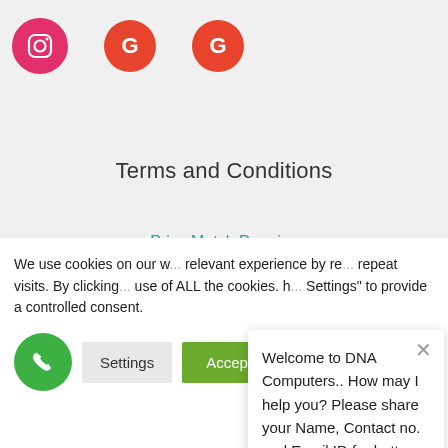[Figure (logo): Instagram icon (pink circle with camera outline), Google 'G' icon (red-orange circle) x2]
Terms and Conditions
Price Match Promise
Terms and Conditions
Shipping
Refund &...
P...
We use cookies on our w... relevant experience by re... repeat visits. By clicking ... use of ALL the cookies. h... Settings" to provide a controlled consent.
Welcome to DNA Computers.. How may I help you? Please share your Name, Contact no. and Email ID for better assistance.
Settings
Accept All